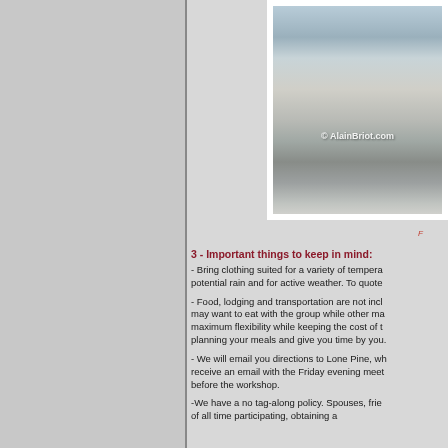[Figure (photo): Winter landscape photo with snow-covered rocks and boulders, watermark reads © AlainBriot.com]
3 - Important things to keep in mind:
- Bring clothing suited for a variety of temperatures, potential rain and for active weather. To quote
- Food, lodging and transportation are not included. Some may want to eat with the group while other maximum flexibility while keeping the cost of the planning your meals and give you time by you
- We will email you directions to Lone Pine, wh receive an email with the Friday evening meet before the workshop.
-We have a no tag-along policy. Spouses, frien of all time participating, obtaining a